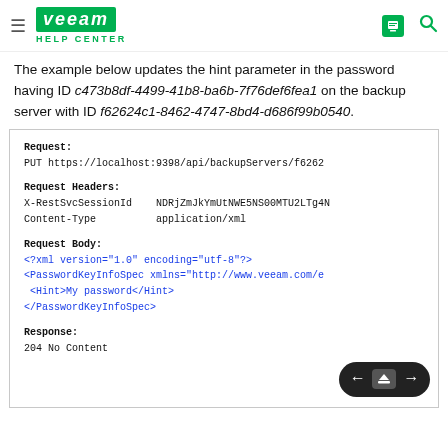Veeam Help Center
The example below updates the hint parameter in the password having ID c473b8df-4499-41b8-ba6b-7f76def6fea1 on the backup server with ID f62624c1-8462-4747-8bd4-d686f99b0540.
Request:
PUT https://localhost:9398/api/backupServers/f6262...

Request Headers:
X-RestSvcSessionId   NDRjZmJkYmUtNWE5NS00MTU2LTg4N...
Content-Type         application/xml

Request Body:
<?xml version="1.0" encoding="utf-8"?>
<PasswordKeyInfoSpec xmlns="http://www.veeam.com/e...
  <Hint>My password</Hint>
</PasswordKeyInfoSpec>

Response:
204 No Content